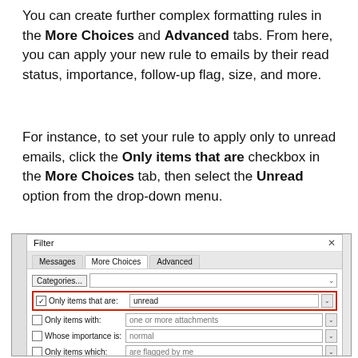You can create further complex formatting rules in the More Choices and Advanced tabs. From here, you can apply your new rule to emails by their read status, importance, follow-up flag, size, and more.
For instance, to set your rule to apply only to unread emails, click the Only items that are checkbox in the More Choices tab, then select the Unread option from the drop-down menu.
[Figure (screenshot): Screenshot of the Outlook Filter dialog box with the 'More Choices' tab active, showing options: Categories button with dropdown, 'Only items that are: unread' checkbox row highlighted in red, 'Only items with: one or more attachments' row, 'Whose importance is: normal' row, and 'Only items which: are flagged by me' row.]